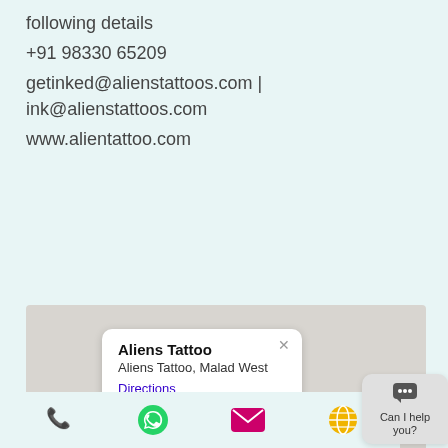following details
+91 98330 65209
getinked@alienstattoos.com | ink@alienstattoos.com
www.alientattoo.com
[Figure (map): Google Maps embed showing location of Aliens Tattoo, Malad West with a popup card displaying place name, address, and Directions link]
Hours of Operation
[Figure (other): Bottom navigation bar with phone, WhatsApp, email, and globe icons, plus a chat widget saying Can I help you?]